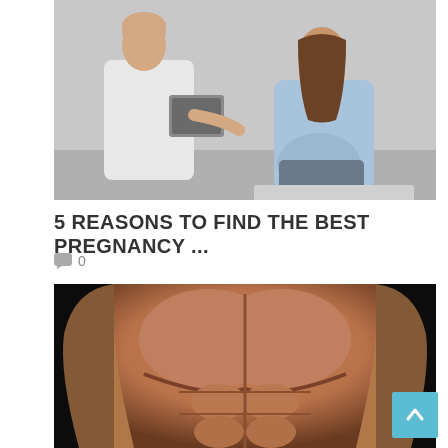[Figure (photo): A doctor in a white coat holding a clipboard/tablet consulting with a pregnant woman seated on a medical table, both in a clinical setting with light gray walls.]
5 REASONS TO FIND THE BEST PREGNANCY ...
0
[Figure (photo): Close-up photo of a muscular male torso showing defined chest and abdominal muscles against a dark/black background.]